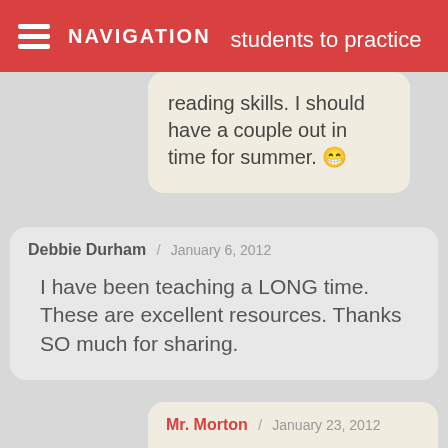NAVIGATION
students to practice reading skills. I should have a couple out in time for summer. 😀
Debbie Durham / January 6, 2012
I have been teaching a LONG time. These are excellent resources. Thanks SO much for sharing.
Mr. Morton / January 23, 2012